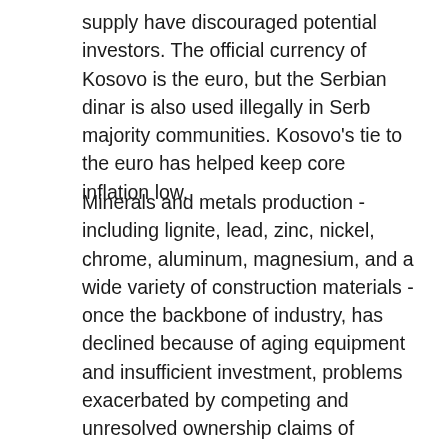supply have discouraged potential investors. The official currency of Kosovo is the euro, but the Serbian dinar is also used illegally in Serb majority communities. Kosovo's tie to the euro has helped keep core inflation low.
Minerals and metals production - including lignite, lead, zinc, nickel, chrome, aluminum, magnesium, and a wide variety of construction materials - once the backbone of industry, has declined because of aging equipment and insufficient investment, problems exacerbated by competing and unresolved ownership claims of Kosovo's largest mines. A limited and unreliable electricity supply is a major impediment to economic development. The US Government is cooperating with the Ministry of Economic Development (MED) and the World Bank to conclude a commercial tender for the construction of Kosovo C, a new lignite-fired power plant that would leverage Kosovo's large lignite reserves. MED also has plans for the rehabilitation of an older